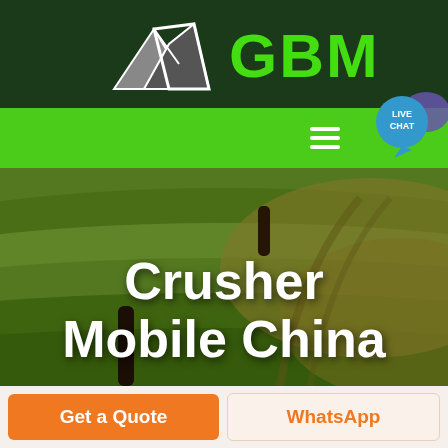[Figure (logo): GBM company logo with mountain/arrow graphic in white/grey on dark green background, with green 'GBM' text]
[Figure (screenshot): Green navigation bar with hamburger menu icon and Live Chat speech bubble widget in top right corner]
[Figure (photo): Aerial photo of rolling green and golden agricultural fields with trees, overlaid with large white bold text 'Crusher Mobile China']
Crusher Mobile China
Get a Quote
WhatsApp